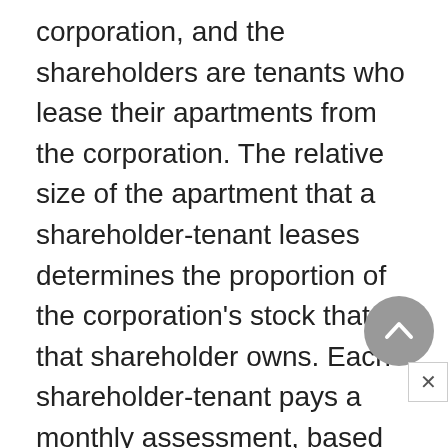corporation, and the shareholders are tenants who lease their apartments from the corporation. The relative size of the apartment that a shareholder-tenant leases determines the proportion of the corporation's stock that that shareholder owns. Each shareholder-tenant pays a monthly assessment, based upon his or her proportionate share of the stock, to cover the principal and interest on the building mortgage, taxes, and maintenance costs.